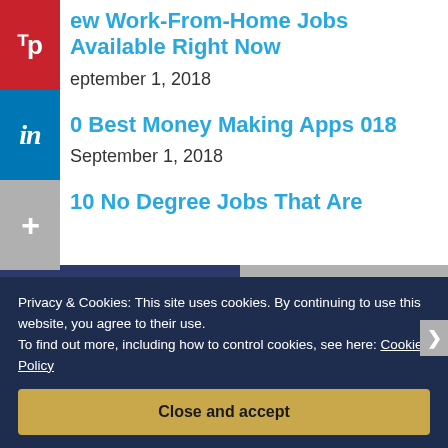[Figure (screenshot): Social sharing sidebar with Pinterest (red), LinkedIn (blue), and More/Plus (gray) buttons stacked vertically on the left side of the page.]
ew Work-From-Home Jobs Available Right Now
eptember 1, 2018
0 Best Money Making Apps 018
September 1, 2018
10 No Degree Jobs That Are
Privacy & Cookies: This site uses cookies. By continuing to use this website, you agree to their use.
To find out more, including how to control cookies, see here: Cookie Policy
Close and accept